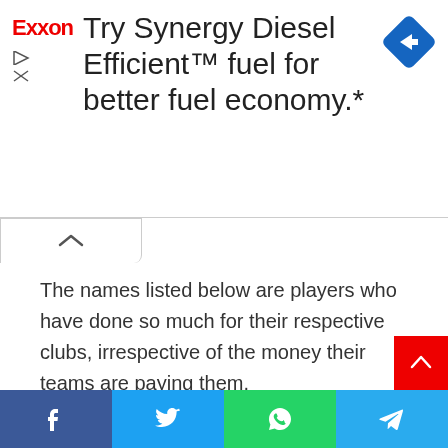[Figure (infographic): Exxon advertisement banner: 'Try Synergy Diesel Efficient™ fuel for better fuel economy.*' with Exxon logo in red, blue diamond navigation icon on right, and ad control icons on left.]
The names listed below are players who have done so much for their respective clubs, irrespective of the money their teams are paying them.
[Figure (infographic): Social share bar with Facebook, Twitter, WhatsApp, and Telegram buttons at the bottom of the page.]